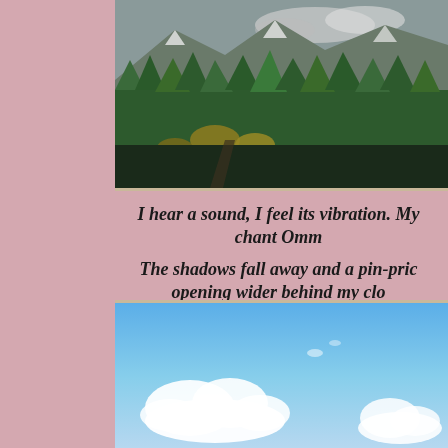[Figure (photo): Landscape photograph showing dense green forest with mountains and cloudy sky in the background]
I hear a sound, I feel its vibration.  My chant Omm

The shadows fall away and  a pin-pric opening wider behind my clo
[Figure (photo): Blue sky with white fluffy clouds photograph]